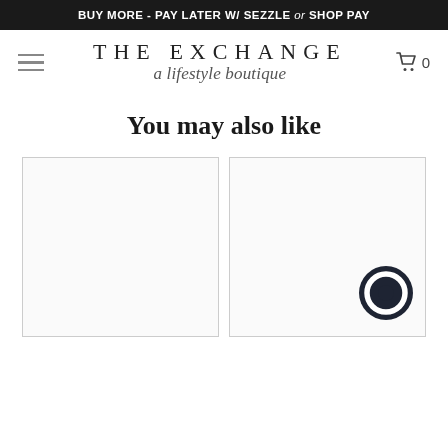BUY MORE - PAY LATER W/ SEZZLE or SHOP PAY
[Figure (logo): The Exchange – a lifestyle boutique logo with hamburger menu and cart icon]
You may also like
[Figure (other): Empty product card placeholder (left)]
[Figure (other): Empty product card placeholder (right) with chat bubble icon]